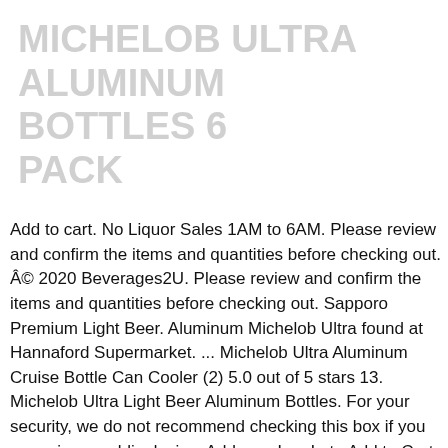MICHELOB ULTRA ALUMINUM BOTTLES 6 PACK
Add to cart. No Liquor Sales 1AM to 6AM. Please review and confirm the items and quantities before checking out. © 2020 Beverages2U. Please review and confirm the items and quantities before checking out. Sapporo Premium Light Beer. Aluminum Michelob Ultra found at Hannaford Supermarket. ... Michelob Ultra Aluminum Cruise Bottle Can Cooler (2) 5.0 out of 5 stars 13. Michelob Ultra Light Beer Aluminum Bottles. For your security, we do not recommend checking this box if you are using a public device. Address. Log In to Add to Cart. Details . Enjoy the crisp, clean taste of Michelob ULTRA, the superior light beer with only 2.6 carbs and 95 calories per bottle. Steel Reserve - Spiked Tropic Storm - 24oz.. Price: $3.35. Case . Get